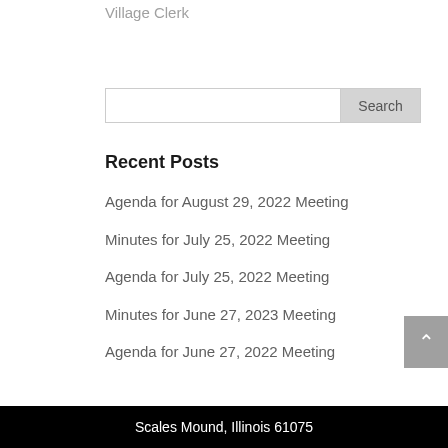Village Clerk
Recent Posts
Agenda for August 29, 2022 Meeting
Minutes for July 25, 2022 Meeting
Agenda for July 25, 2022 Meeting
Minutes for June 27, 2023 Meeting
Agenda for June 27, 2022 Meeting
Scales Mound, Illinois 61075